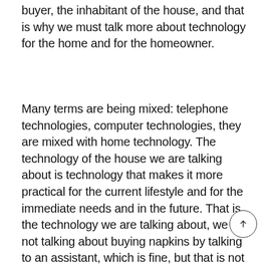buyer, the inhabitant of the house, and that is why we must talk more about technology for the home and for the homeowner.
Many terms are being mixed: telephone technologies, computer technologies, they are mixed with home technology. The technology of the house we are talking about is technology that makes it more practical for the current lifestyle and for the immediate needs and in the future. That is the technology we are talking about, we are not talking about buying napkins by talking to an assistant, which is fine, but that is not technology for the home, we are talking about technologies that reduce household consumption but at the same time allow new lifestyles, that we know what happens in our house when we are not in it, that we feel safe with the digital connections of our houses, that the air conditioning does not